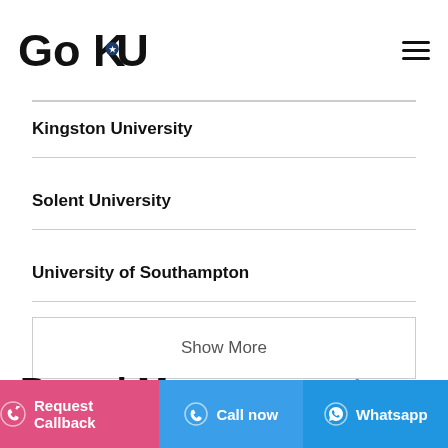GoUK
Kingston University
Solent University
University of Southampton
Show More
Brand Management Masters
Request Callback | Call now | Whatsapp